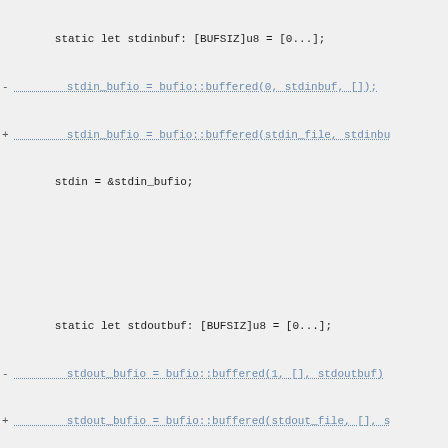[Figure (screenshot): A code diff view showing changes to FreeBSD runtime files in a monospace font on a light gray background. Shows modifications to stdin/stdout buffer initialization and platform_abort function, plus export definitions for WNOWAIT, WEXITED, WTRAPPED.]